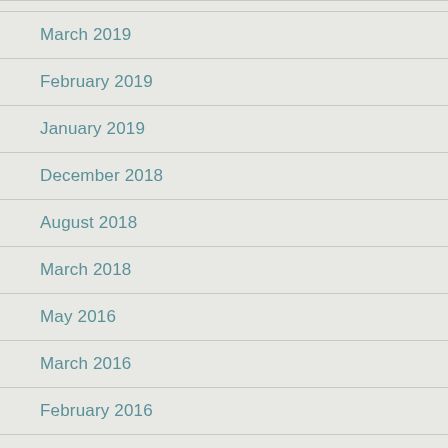March 2019
February 2019
January 2019
December 2018
August 2018
March 2018
May 2016
March 2016
February 2016